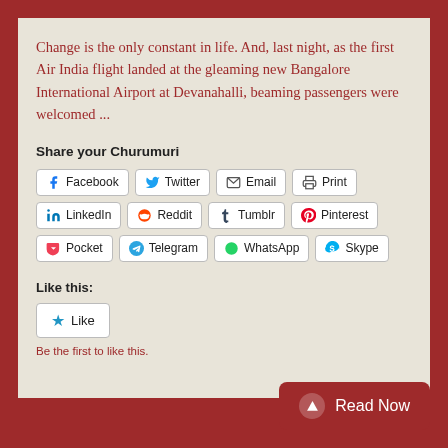Change is the only constant in life. And, last night, as the first Air India flight landed at the gleaming new Bangalore International Airport at Devanahalli, beaming passengers were welcomed ...
Share your Churumuri
[Figure (other): Social sharing buttons: Facebook, Twitter, Email, Print, LinkedIn, Reddit, Tumblr, Pinterest, Pocket, Telegram, WhatsApp, Skype]
Like this:
[Figure (other): Like button with star icon]
Be the first to like this.